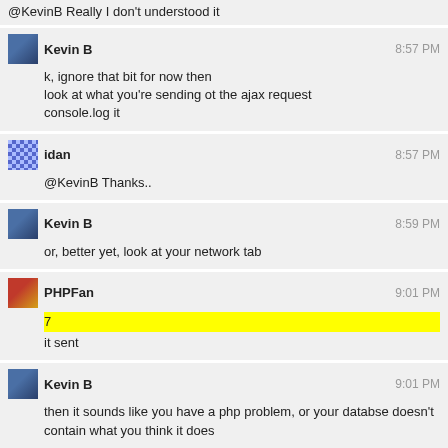@KevinB Really I don't understood it
Kevin B  8:57 PM
k, ignore that bit for now then
look at what you're sending ot the ajax request
console.log it
idan  8:57 PM
@KevinB Thanks..
Kevin B  8:59 PM
or, better yet, look at your network tab
PHPFan  9:01 PM
7 [highlighted]
it sent
Kevin B  9:01 PM
then it sounds like you have a php problem, or your databse doesn't contain what you think it does
PHPFan  9:02 PM
ok
← prev day  next day →  last day »
join this room